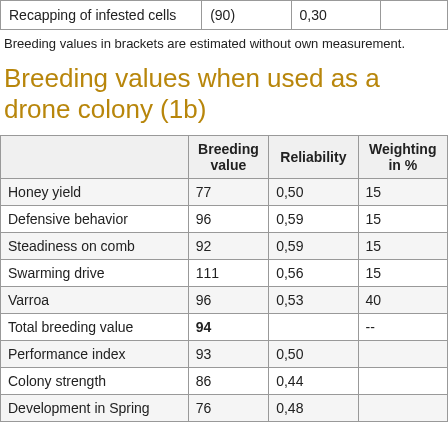|  | Breeding value | Reliability | Weighting in % |
| --- | --- | --- | --- |
| Recapping of infested cells | (90) | 0,30 |  |
Breeding values in brackets are estimated without own measurement.
Breeding values when used as a drone colony (1b)
|  | Breeding value | Reliability | Weighting in % |
| --- | --- | --- | --- |
| Honey yield | 77 | 0,50 | 15 |
| Defensive behavior | 96 | 0,59 | 15 |
| Steadiness on comb | 92 | 0,59 | 15 |
| Swarming drive | 111 | 0,56 | 15 |
| Varroa | 96 | 0,53 | 40 |
| Total breeding value | 94 |  | -- |
| Performance index | 93 | 0,50 |  |
| Colony strength | 86 | 0,44 |  |
| Development in Spring | 76 | 0,48 |  |